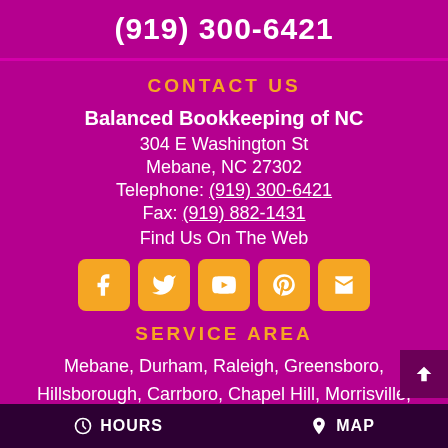(919) 300-6421
CONTACT US
Balanced Bookkeeping of NC
304 E Washington St
Mebane, NC 27302
Telephone: (919) 300-6421
Fax: (919) 882-1431
Find Us On The Web
[Figure (infographic): Row of 5 orange social media icon buttons: Facebook, Twitter, YouTube, Pinterest, and a business/storefront icon]
SERVICE AREA
Mebane, Durham, Raleigh, Greensboro, Hillsborough, Carrboro, Chapel Hill, Morrisville, Graham, Burlington, Haw River, Saxapahaw
HOURS   MAP